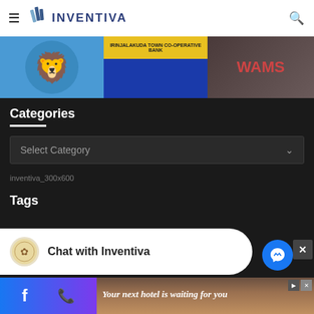INVENTIVA
[Figure (photo): Three images: blue lion logo, Irinjalakuda Town Co-operative Bank building, and a storefront]
Categories
Select Category
inventiva_300x600
Tags
[Figure (other): Chat with Inventiva widget with avatar icon]
[Figure (other): Advertisement banner: Your next hotel is waiting for you]
[Figure (other): Social media bar with Facebook icon and phone icon]